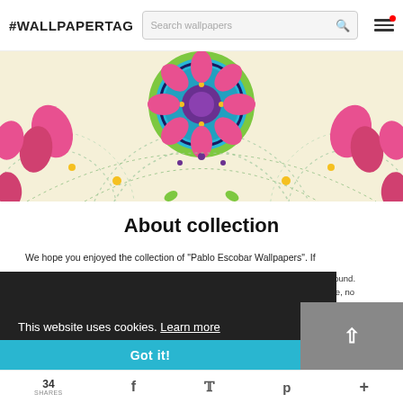#WALLPAPERTAG | Search wallpapers [search bar] [menu icon]
[Figure (illustration): Colorful mandala / floral wallpaper design on a cream/beige background, with pink flowers, teal and green mandala patterns, and decorative dotted circles. This is a cropped hero banner image showing the top portion of the wallpaper.]
About collection
We hope you enjoyed the collection of "Pablo Escobar Wallpapers". If [partially obscured] owse around. [partially obscured] ny device, no [partially obscured] PC. Here's a [partially obscured] r devices that [partially obscured] 280x10[...] [partially obscured] Wides[...]
This website uses cookies. Learn more
Got it!
34 SHARES  [Facebook]  [Twitter]  [Pinterest]  [Plus]